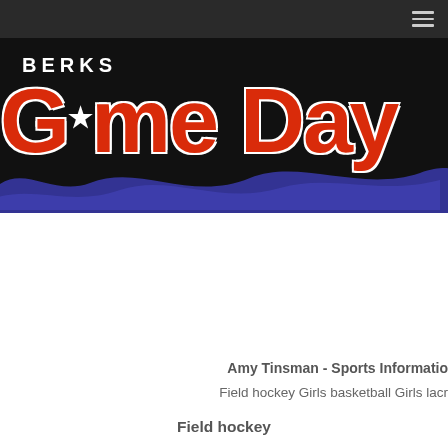[Figure (logo): Berks Game Day logo with red Game Day text and blue brush stroke on black background]
Amy Tinsman - Sports Informatio
Field hockey Girls basketball Girls lacr
Field hockey